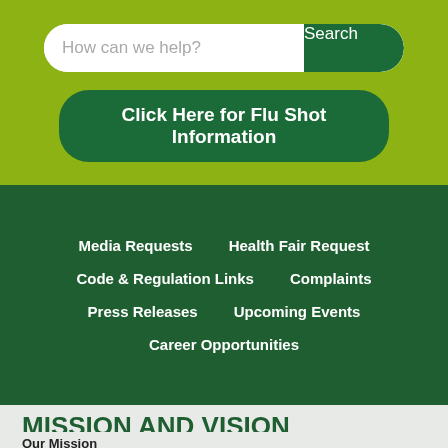[Figure (screenshot): Search bar with placeholder text 'How can we help?' and green Search button, on a yellow-green background]
Click Here for Flu Shot Information
Media Requests
Health Fair Request
Code & Regulation Links
Complaints
Press Releases
Upcoming Events
Career Opportunities
MISSION AND VISION
Our Mission